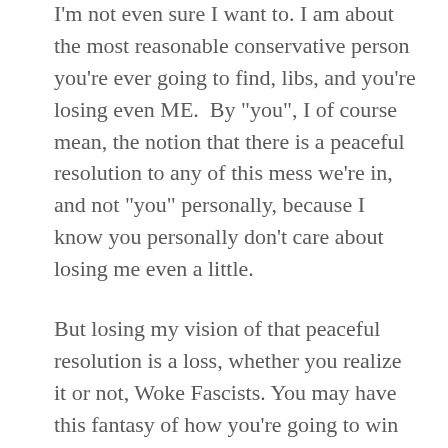I'm not even sure I want to. I am about the most reasonable conservative person you're ever going to find, libs, and you're losing even ME. By "you", I of course mean, the notion that there is a peaceful resolution to any of this mess we're in, and not "you" personally, because I know you personally don't care about losing me even a little.

But losing my vision of that peaceful resolution is a loss, whether you realize it or not, Woke Fascists. You may have this fantasy of how you're going to win and it will be easy like flying into the big alien ship and destroying the queen, and all the conservatives will poof into dust. Then everything will cheer from happy happy joy joy and people like me will crawl back into Middle America and continue providing you, the glorious citizens of Panem, my rulers, my